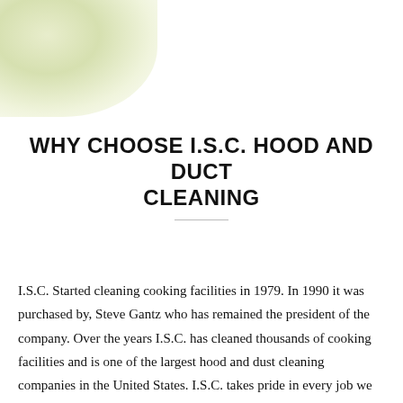[Figure (illustration): Light green/yellow gradient oval shape in the top-left corner of the page, fading to white.]
WHY CHOOSE I.S.C. HOOD AND DUCT CLEANING
I.S.C. Started cleaning cooking facilities in 1979. In 1990 it was purchased by, Steve Gantz who has remained the president of the company. Over the years I.S.C. has cleaned thousands of cooking facilities and is one of the largest hood and dust cleaning companies in the United States. I.S.C. takes pride in every job we